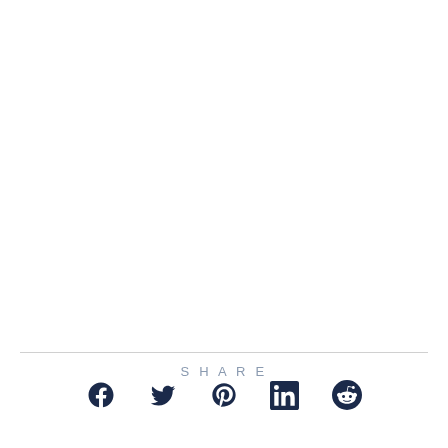SHARE
[Figure (other): Social share icons: Facebook, Twitter, Pinterest, LinkedIn, Reddit]